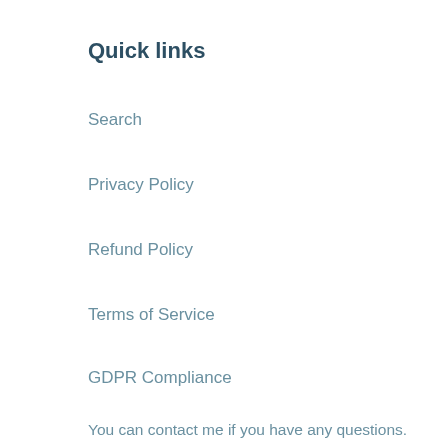Quick links
Search
Privacy Policy
Refund Policy
Terms of Service
GDPR Compliance
You can contact me if you have any questions.
Request Personal Data
Do not sell my personal information